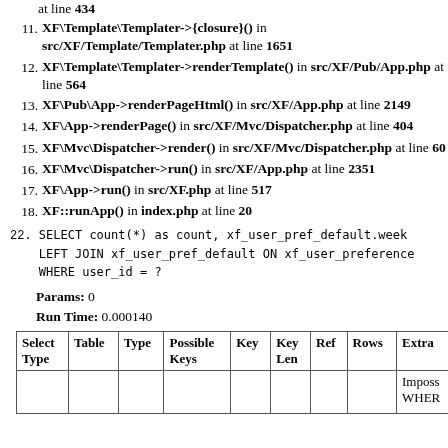at line 434
11. XF\Template\Templater->{closure}() in src/XF/Template/Templater.php at line 1651
12. XF\Template\Templater->renderTemplate() in src/XF/Pub/App.php at line 564
13. XF\Pub\App->renderPageHtml() in src/XF/App.php at line 2149
14. XF\App->renderPage() in src/XF/Mvc/Dispatcher.php at line 404
15. XF\Mvc\Dispatcher->render() in src/XF/Mvc/Dispatcher.php at line 60
16. XF\Mvc\Dispatcher->run() in src/XF/App.php at line 2351
17. XF\App->run() in src/XF.php at line 517
18. XF::runApp() in index.php at line 20
22. SELECT count(*) as count, xf_user_pref_default.week LEFT JOIN xf_user_pref_default ON xf_user_preference WHERE user_id = ?
Params: 0
Run Time: 0.000140
| Select Type | Table | Type | Possible Keys | Key | Key Len | Ref | Rows | Extra |
| --- | --- | --- | --- | --- | --- | --- | --- | --- |
|  |  |  |  |  |  |  |  | Imposs WHERE |